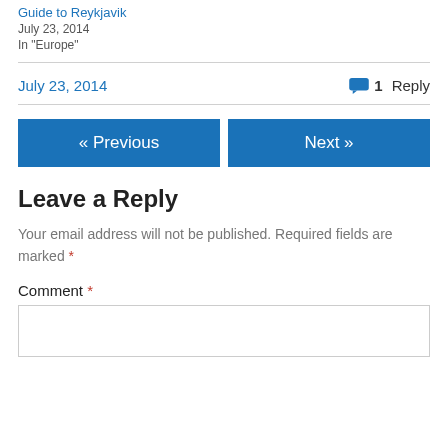Guide to Reykjavik
July 23, 2014
In "Europe"
July 23, 2014   1 Reply
« Previous
Next »
Leave a Reply
Your email address will not be published. Required fields are marked *
Comment *